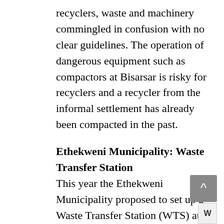recyclers, waste and machinery commingled in confusion with no clear guidelines. The operation of dangerous equipment such as compactors at Bisarsar is risky for recyclers and a recycler from the informal settlement has already been compacted in the past.
Ethekweni Municipality: Waste Transfer Station
This year the Ethekweni Municipality proposed to set up a Waste Transfer Station (WTS) at Electron Road, 1km from the Bisarsar landfill site. The waste transfer station would be a collection point for waste and would simply entail compaction and containerization of waste prior to bulk transport to Buffelsdraai